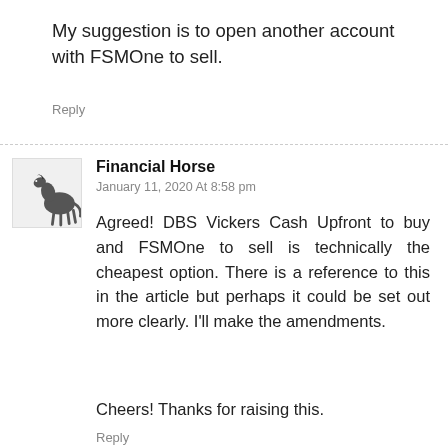My suggestion is to open another account with FSMOne to sell.
Reply
Financial Horse
January 11, 2020 At 8:58 pm
Agreed! DBS Vickers Cash Upfront to buy and FSMOne to sell is technically the cheapest option. There is a reference to this in the article but perhaps it could be set out more clearly. I’ll make the amendments.

Cheers! Thanks for raising this.
Reply